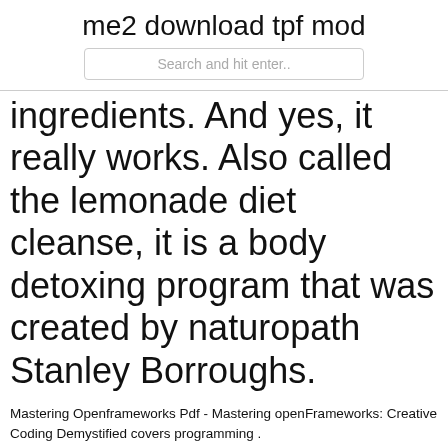me2 download tpf mod
Search and hit enter..
ingredients. And yes, it really works. Also called the lemonade diet cleanse, it is a body detoxing program that was created by naturopath Stanley Borroughs.
Mastering Openframeworks Pdf - Mastering openFrameworks: Creative Coding Demystified covers programming . com/sites/default/files/downloads/iningilworkren.ml Errata. Mastering openFrameworks: Creative. Soros, George - The Alchemy of Finance - Free ebook download as PDF File . pdf)